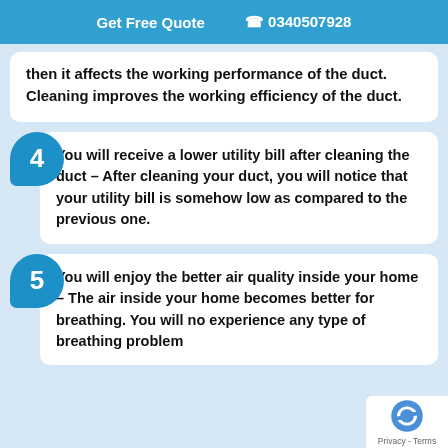Get Free Quote  📞 0340507928
then it affects the working performance of the duct. Cleaning improves the working efficiency of the duct.
4  You will receive a lower utility bill after cleaning the duct – After cleaning your duct, you will notice that your utility bill is somehow low as compared to the previous one.
5  You will enjoy the better air quality inside your home – The air inside your home becomes better for breathing. You will no experience any type of breathing problem